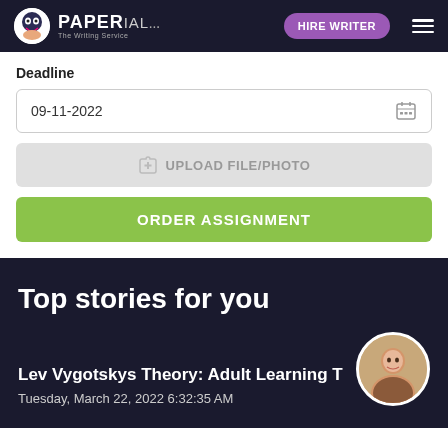PAPERIAL — HIRE WRITER
Deadline
09-11-2022
UPLOAD FILE/PHOTO
ORDER ASSIGNMENT
Top stories for you
Lev Vygotskys Theory: Adult Learning T
Tuesday, March 22, 2022 6:32:35 AM